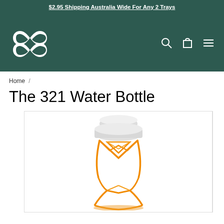$2.95 Shipping Australia Wide For Any 2 Trays
[Figure (logo): Decorative infinity/knot logo in white on dark teal background, with search, cart, and hamburger menu icons on the right]
Home /
The 321 Water Bottle
[Figure (photo): Product photo of The 321 Water Bottle - an orange and white water bottle with an hourglass/artistic shape, showing the top cap in white and orange lattice structure below, on a white background]